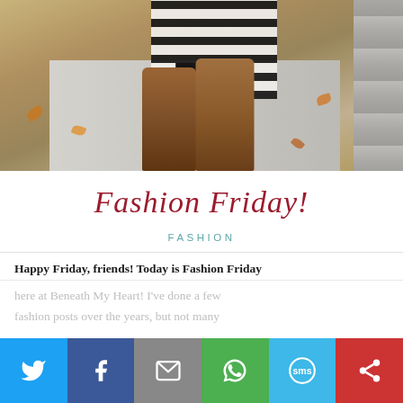[Figure (photo): A person wearing a black and white striped top, black leggings and tall brown leather riding boots walking on a sidewalk with fallen autumn leaves around. A stone wall is visible on the right side.]
Fashion Friday!
FASHION
Happy Friday, friends! Today is Fashion Friday
here at Beneath My Heart!  I've done a few fashion posts over the years, but not many